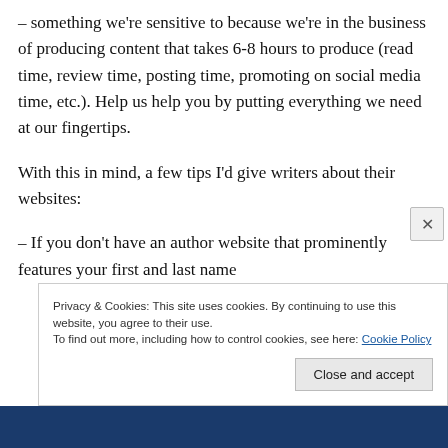– something we're sensitive to because we're in the business of producing content that takes 6-8 hours to produce (read time, review time, posting time, promoting on social media time, etc.). Help us help you by putting everything we need at our fingertips.
With this in mind, a few tips I'd give writers about their websites:
– If you don't have an author website that prominently features your first and last name
Privacy & Cookies: This site uses cookies. By continuing to use this website, you agree to their use.
To find out more, including how to control cookies, see here: Cookie Policy